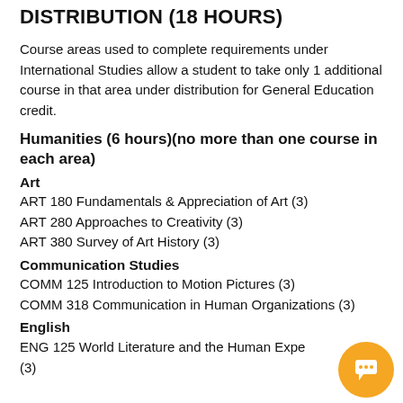DISTRIBUTION (18 HOURS)
Course areas used to complete requirements under International Studies allow a student to take only 1 additional course in that area under distribution for General Education credit.
Humanities (6 hours)(no more than one course in each area)
Art
ART 180 Fundamentals & Appreciation of Art (3)
ART 280 Approaches to Creativity (3)
ART 380 Survey of Art History (3)
Communication Studies
COMM 125 Introduction to Motion Pictures (3)
COMM 318 Communication in Human Organizations (3)
English
ENG 125 World Literature and the Human Experience (3)